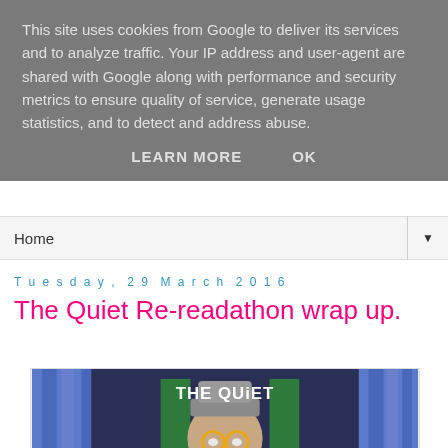This site uses cookies from Google to deliver its services and to analyze traffic. Your IP address and user-agent are shared with Google along with performance and security metrics to ensure quality of service, generate usage statistics, and to detect and address abuse.
LEARN MORE    OK
Home ▼
Tuesday, 29 March 2016
The Quiet Re-readathon wrap up.
[Figure (illustration): Book cover illustration for 'The Quiet Re-Readathon Wrap Up' showing a cartoon character holding a book, surrounded by blue curtains, with white hand-lettered text on a dark background.]